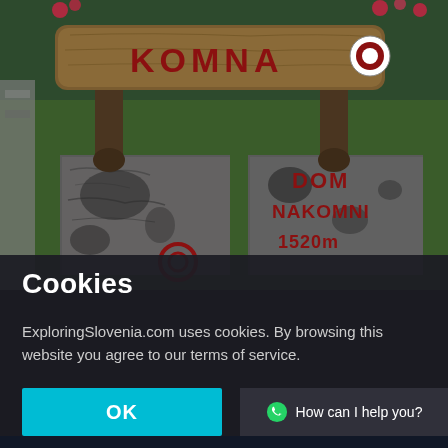[Figure (photo): Wooden sign reading KOMNA with a red circle trail marker, mounted on stone blocks. Stone block below reads DOM NA KOMNI 1520 m. Green grass and stone fence visible in background. A red circle trail marker also visible on lower left stone.]
Cookies
ExploringSlovenia.com uses cookies. By browsing this website you agree to our terms of service.
OK
How can I help you?